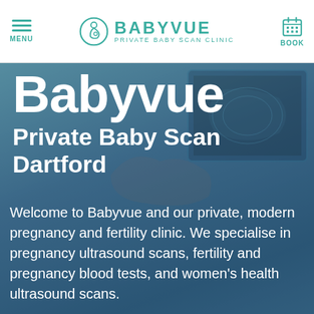MENU | BABYVUE PRIVATE BABY SCAN CLINIC | BOOK
[Figure (photo): Hero background showing a pregnant woman undergoing an ultrasound scan with a monitor displaying the ultrasound image. Blue-tinted overlay.]
Babyvue
Private Baby Scan Dartford
Welcome to Babyvue and our private, modern pregnancy and fertility clinic. We specialise in pregnancy ultrasound scans, fertility and pregnancy blood tests, and women's health ultrasound scans.